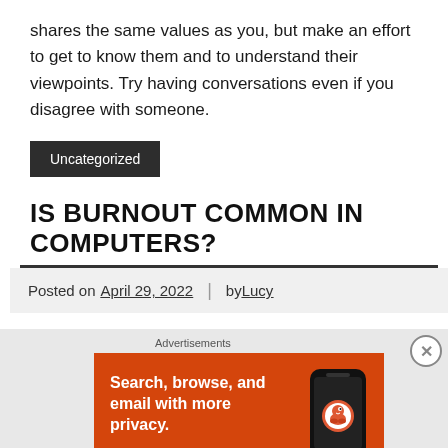shares the same values as you, but make an effort to get to know them and to understand their viewpoints. Try having conversations even if you disagree with someone.
Uncategorized
IS BURNOUT COMMON IN COMPUTERS?
Posted on April 29, 2022  |  by Lucy
[Figure (other): DuckDuckGo advertisement banner with orange background showing text 'Search, browse, and email with more privacy. All in One Free App' with DuckDuckGo logo and phone graphic]